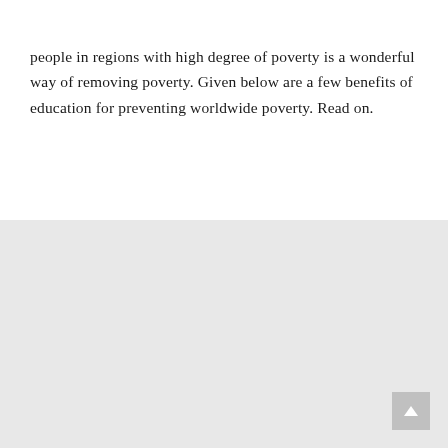people in regions with high degree of poverty is a wonderful way of removing poverty. Given below are a few benefits of education for preventing worldwide poverty. Read on.